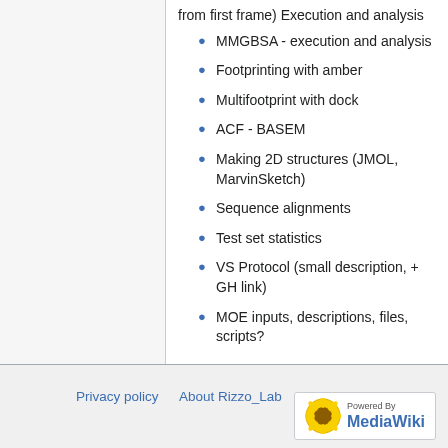from first frame) Execution and analysis
MMGBSA - execution and analysis
Footprinting with amber
Multifootprint with dock
ACF - BASEM
Making 2D structures (JMOL, MarvinSketch)
Sequence alignments
Test set statistics
VS Protocol (small description, + GH link)
MOE inputs, descriptions, files, scripts?
Privacy policy   About Rizzo_Lab   Disclaimers